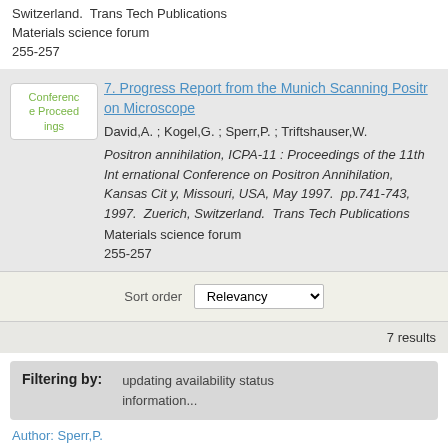Switzerland.  Trans Tech Publications
Materials science forum
255-257
7. Progress Report from the Munich Scanning Positron Microscope
David,A. ; Kogel,G. ; Sperr,P. ; Triftshauser,W.
Positron annihilation, ICPA-11 : Proceedings of the 11th International Conference on Positron Annihilation, Kansas City, Missouri, USA, May 1997.  pp.741-743,  1997.  Zuerich, Switzerland.  Trans Tech Publications
Materials science forum
255-257
Sort order  Relevancy
7 results
Filtering by:
updating availability status information...
Author: Sperr,P.